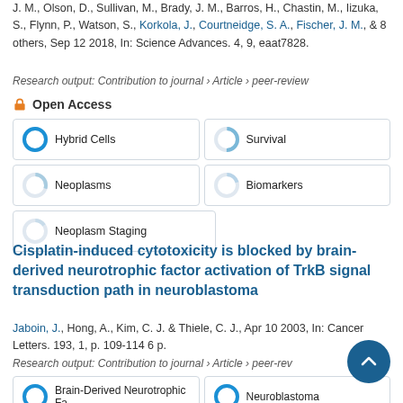J. M., Olson, D., Sullivan, M., Brady, J. M., Barros, H., Chastin, M., Iizuka, S., Flynn, P., Watson, S., Korkola, J., Courtneidge, S. A., Fischer, J. M., & 8 others, Sep 12 2018, In: Science Advances. 4, 9, eaat7828.
Research output: Contribution to journal › Article › peer-review
Open Access
[Figure (infographic): Five keyword badge boxes in a 2-column grid with donut-style percentage indicators: Hybrid Cells (100%), Survival (~50%), Neoplasms (~30%), Biomarkers (~20%), Neoplasm Staging (~15%)]
Cisplatin-induced cytotoxicity is blocked by brain-derived neurotrophic factor activation of TrkB signal transduction path in neuroblastoma
Jaboin, J., Hong, A., Kim, C. J. & Thiele, C. J., Apr 10 2003, In: Cancer Letters. 193, 1, p. 109-114 6 p.
Research output: Contribution to journal › Article › peer-rev
[Figure (infographic): Keyword badge boxes: Brain-Derived Neurotrophic Factor (100%), Neuroblastoma (100%), and more partially visible]